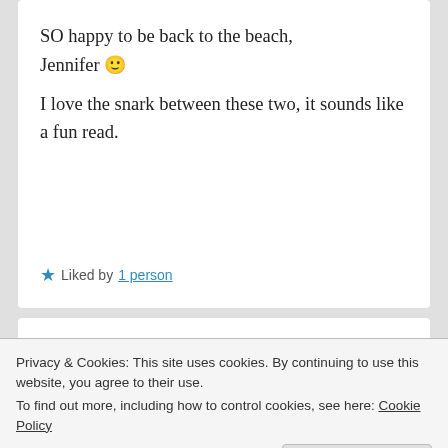SO happy to be back to the beach, Jennifer 🙂

I love the snark between these two, it sounds like a fun read.
★ Liked by 1 person
CHITTY BLATTS
Privacy & Cookies: This site uses cookies. By continuing to use this website, you agree to their use.
To find out more, including how to control cookies, see here: Cookie Policy
Close and accept